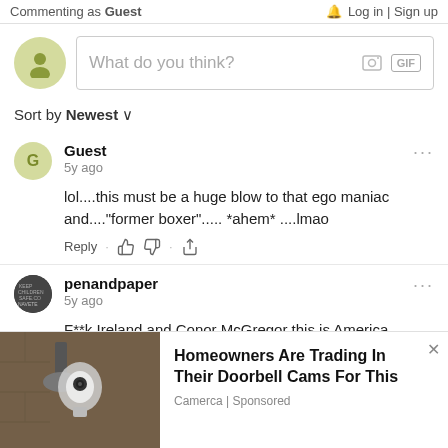Commenting as Guest    Log in | Sign up
What do you think?
Sort by Newest
Guest
5y ago
lol....this must be a huge blow to that ego maniac and...."former boxer"..... *ahem* ....lmao
penandpaper
5y ago
F**k Ireland and Conor McGregor this is America. USA = FLOYD MAYWEATHER.
[Figure (screenshot): Advertisement: Homeowners Are Trading In Their Doorbell Cams For This — Camerca | Sponsored]